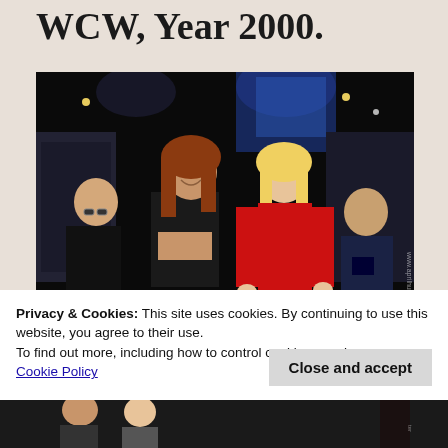WCW, Year 2000.
[Figure (photo): A wrestling event photo showing two women in the ring area — one in a black leather crop top and skirt with boots (brunette/auburn hair), another in a red latex catsuit (blonde). Two men in black clothing stand in the background. Arena crowd visible behind them. Watermark: www.aprilhunter.com]
Privacy & Cookies: This site uses cookies. By continuing to use this website, you agree to their use.
To find out more, including how to control cookies, see here:
Cookie Policy
Close and accept
[Figure (photo): Partial view of another wrestling event photo at the bottom of the page, cropped.]